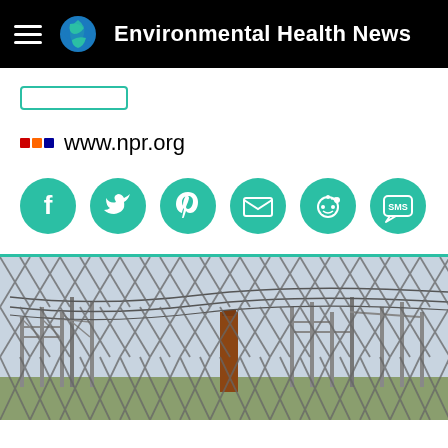Environmental Health News
www.npr.org
[Figure (infographic): Social sharing icons row: Facebook, Twitter, Pinterest, Email, Reddit, SMS — all green circles with white icons]
[Figure (photo): Photo of an electrical power substation with transmission towers, power lines, and a smokestack, viewed through a chain-link fence against a pale sky]